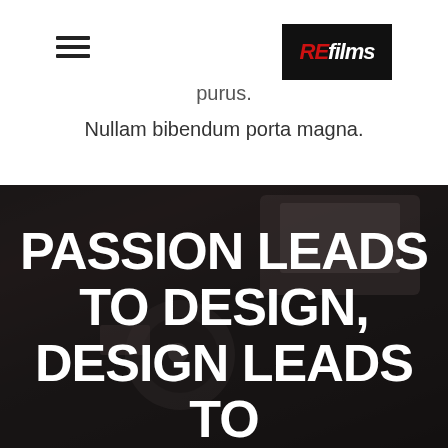REfilms
purus.
Nullam bibendum porta magna.
[Figure (photo): Dark background showing film production equipment with camera in low light setting]
PASSION LEADS TO DESIGN, DESIGN LEADS TO PERFORMANCE, PERFORMANCE LEADS TO